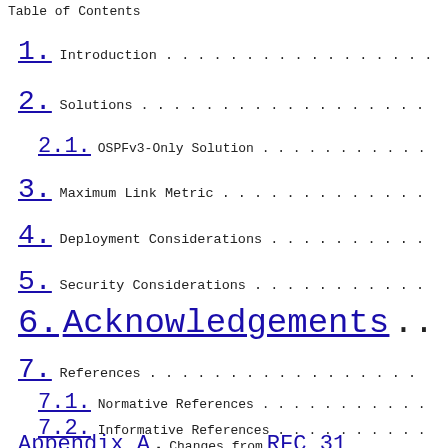Table of Contents
1.  Introduction . . . . . . . . . . . . . . . .
2.  Solutions . . . . . . . . . . . . . . . . . .
2.1.  OSPFv3-Only Solution . . . . . . . . . . .
3.  Maximum Link Metric . . . . . . . . . . . . .
4.  Deployment Considerations . . . . . . . . . .
5.  Security Considerations . . . . . . . . . . .
6.  Acknowledgements . . .
7.  References . . . . . . . . . . . . . . . . .
7.1.  Normative References . . . . . . . . . . .
7.2.  Informative References . . . . . . . . . .
Appendix A.  Changes from RFC 31